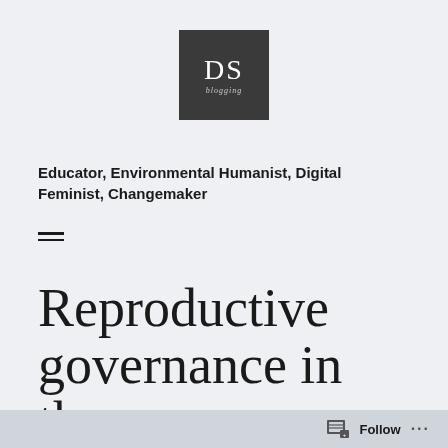[Figure (logo): DS blogging logo — dark grey square with white letters DS and italic subtitle text]
Educator, Environmental Humanist, Digital Feminist, Changemaker
[Figure (other): Hamburger menu icon — two horizontal lines]
Reproductive governance in the
Follow ...